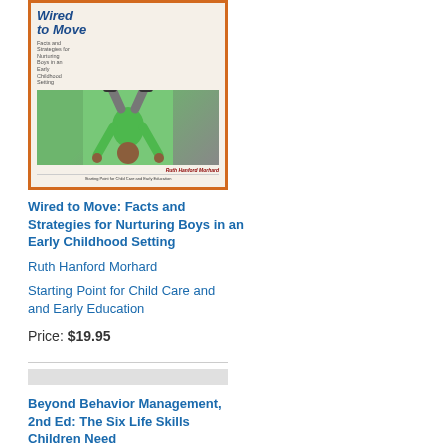[Figure (illustration): Book cover for 'Wired to Move: Facts and Strategies for Nurturing Boys in an Early Childhood Setting' by Ruth Hanford Morhard. Features a boy doing a handstand wearing a green top. Published by Starting Point for Child Care and Early Education.]
Wired to Move: Facts and Strategies for Nurturing Boys in an Early Childhood Setting
Ruth Hanford Morhard
Starting Point for Child Care and Early Education
Price: $19.95
[Figure (illustration): Partial book cover placeholder for 'Beyond Behavior Management, 2nd Ed: The Six Life Skills Children Need']
Beyond Behavior Management, 2nd Ed: The Six Life Skills Children Need
Jenna Bilmes